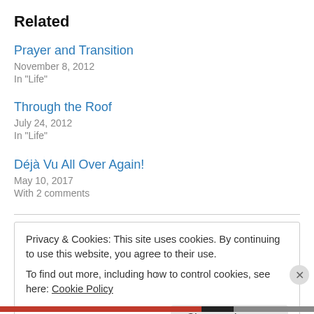Related
Prayer and Transition
November 8, 2012
In "Life"
Through the Roof
July 24, 2012
In "Life"
Déjà Vu All Over Again!
May 10, 2017
With 2 comments
Privacy & Cookies: This site uses cookies. By continuing to use this website, you agree to their use.
To find out more, including how to control cookies, see here: Cookie Policy
Close and accept